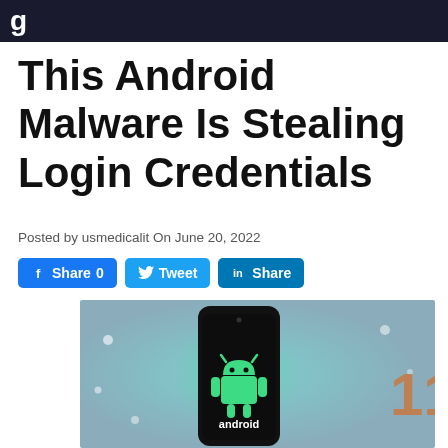g
This Android Malware Is Stealing Login Credentials
Posted by usmedicalit On June 20, 2022
[Figure (other): Social sharing buttons: Facebook Share 0, Twitter Tweet, LinkedIn Share]
[Figure (photo): Photo of an Android smartphone with the Android robot logo (green) on its black screen, with the word 'android' displayed, against a blue-grey background with decorative dots and the number 11 partially visible.]